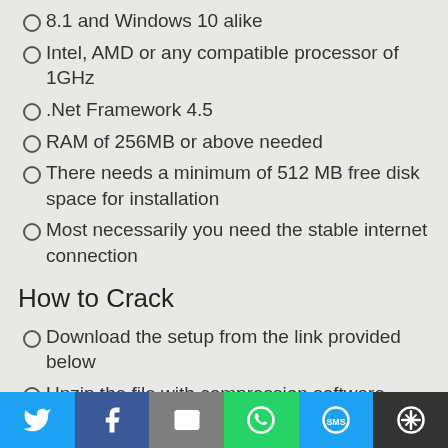8.1 and Windows 10 alike
Intel, AMD or any compatible processor of 1GHz
.Net Framework 4.5
RAM of 256MB or above needed
There needs a minimum of 512 MB free disk space for installation
Most necessarily you need the stable internet connection
How to Crack
Download the setup from the link provided below
Unzip the file with compression software